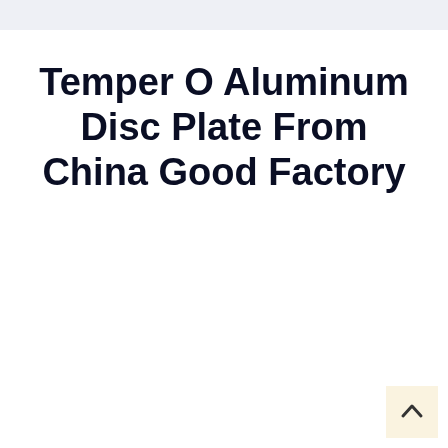Temper O Aluminum Disc Plate From China Good Factory